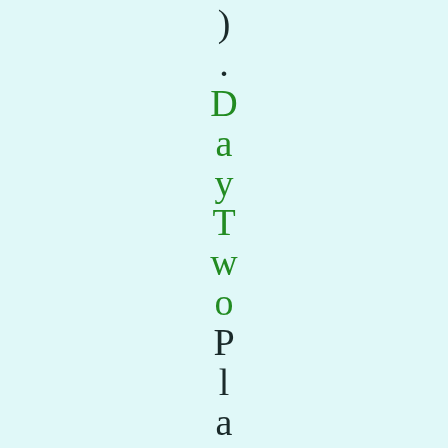). DayTwo Plan A: Martin, D
DayTwo
Plan A: Martin, D